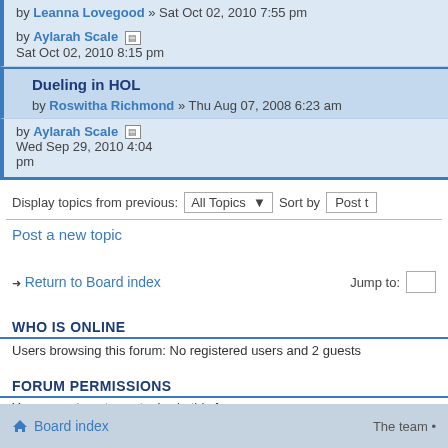by Leanna Lovegood » Sat Oct 02, 2010 7:55 pm
by Aylarah Scale  Sat Oct 02, 2010 8:15 pm
Dueling in HOL
by Roswitha Richmond » Thu Aug 07, 2008 6:23 am
by Aylarah Scale  Wed Sep 29, 2010 4:04 pm
Display topics from previous: All Topics ▾  Sort by  Post t
Post a new topic
Return to Board index   Jump to:
WHO IS ONLINE
Users browsing this forum: No registered users and 2 guests
FORUM PERMISSIONS
You cannot post new topics in this forum
You cannot reply to topics in this forum
You cannot edit your posts in this forum
You cannot delete your posts in this forum
Board index   The team •